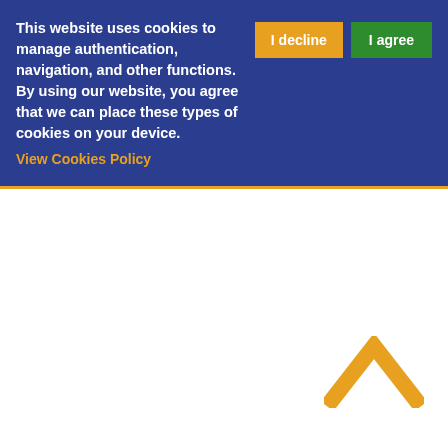This website uses cookies to manage authentication, navigation, and other functions. By using our website, you agree that we can place these types of cookies on your device. View Cookies Policy
[Figure (illustration): Orange chevron/caret up arrow icon in the bottom right area of the page]